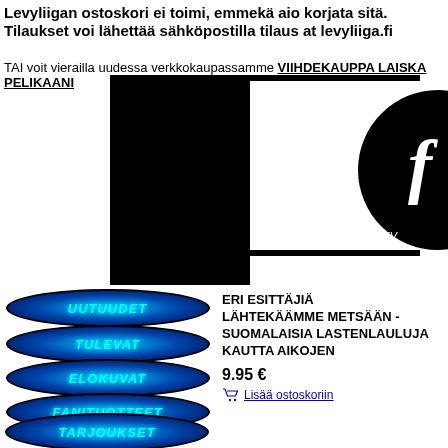Levyliigan ostoskori ei toimi, emmekä aio korjata sitä. Tilaukset voi lähettää sähköpostilla tilaus at levyliiga.fi
TAI voit vierailla uudessa verkkokaupassamme VIIHDEKAUPPA LAISKA PELIKAANI
[Figure (logo): Levyliiga website logo with horizontal stripes and cursive script, showing www.LEV... URL]
UUTUUDET
TULEVAT
ELOKUVAT
FANITUOTTEET
TARJOUKSET
OSTOSKORI
ERI ESITTÄJIÄ LÄHTEKÄÄMME METSÄÄN - SUOMALAISIA LASTENLAULUJA KAUTTA AIKOJEN
9.95 €
Lisää ostoskoriin